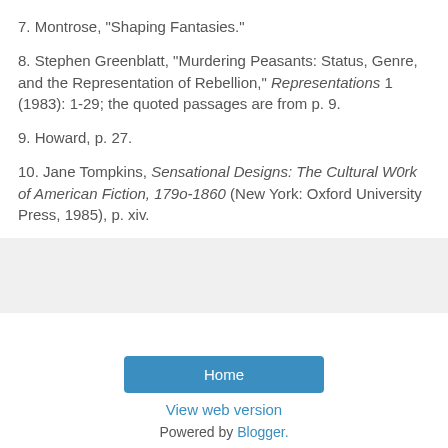7. Montrose, "Shaping Fantasies."
8. Stephen Greenblatt, "Murdering Peasants: Status, Genre, and the Representation of Rebellion," Representations 1 (1983): 1-29; the quoted passages are from p. 9.
9. Howard, p. 27.
10. Jane Tompkins, Sensational Designs: The Cultural W0rk of American Fiction, 179o-1860 (New York: Oxford University Press, 1985), p. xiv.
[Figure (other): Gray shaded box area]
Home | View web version | Powered by Blogger.